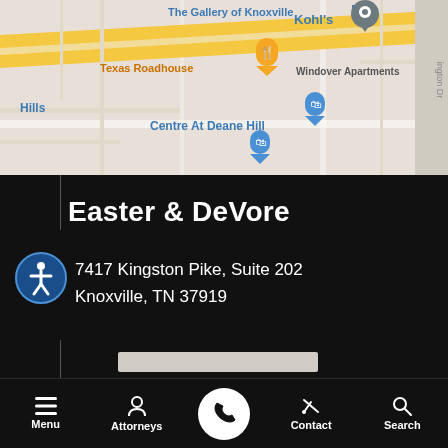[Figure (map): Google Maps screenshot showing area near 7417 Kingston Pike in Knoxville, TN. Shows landmarks including The Gallery of Knoxville, Texas Roadhouse, Kohl's, Centre At Deane Hill, and Windover Apartments.]
Easter & DeVore
7417 Kingston Pike, Suite 202
Knoxville, TN 37919
Menu  Attorneys  [phone]  Contact  Search